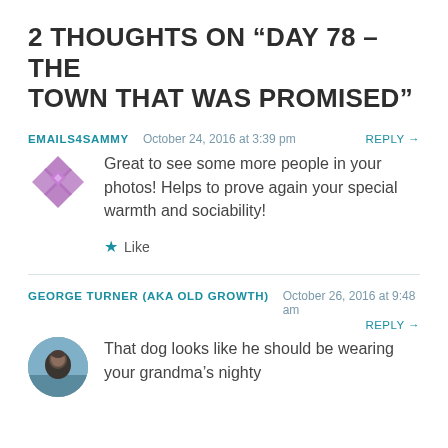2 THOUGHTS ON “DAY 78 – THE TOWN THAT WAS PROMISED”
EMAILS4SAMMY   October 24, 2016 at 3:39 pm   REPLY →
Great to see some more people in your photos! Helps to prove again your special warmth and sociability!
★ Like
GEORGE TURNER (AKA OLD GROWTH)   October 26, 2016 at 9:48 am   REPLY →
That dog looks like he should be wearing your grandma’s nighty